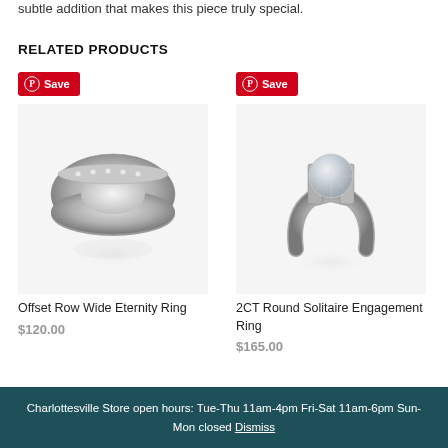subtle addition that makes this piece truly special.
RELATED PRODUCTS
[Figure (photo): Photo of Offset Row Wide Eternity Ring, a silver eternity ring with small gemstones, shown with reflection]
Offset Row Wide Eternity Ring
$120.00
[Figure (photo): Photo of 2CT Round Solitaire Engagement Ring, a modern tension-set silver ring with a large round diamond]
2CT Round Solitaire Engagement Ring
$165.00
Charlottesville Store open hours: Tue-Thu 11am-4pm Fri-Sat 11am-6pm Sun-Mon closed Dismiss